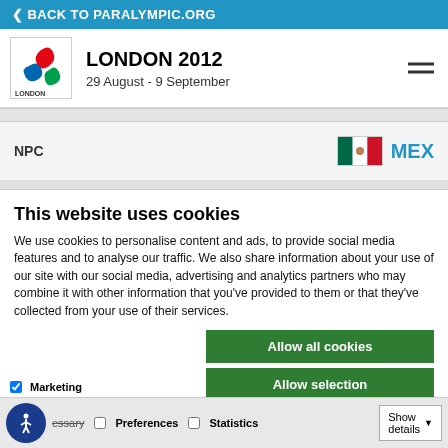< BACK TO PARALYMPIC.ORG
LONDON 2012
29 August - 9 September
| NPC | Flag/Code |
| --- | --- |
| NPC | MEX |
This website uses cookies
We use cookies to personalise content and ads, to provide social media features and to analyse our traffic. We also share information about your use of our site with our social media, advertising and analytics partners who may combine it with other information that you've provided to them or that they've collected from your use of their services.
Allow all cookies
Allow selection
Use necessary cookies
essary  Preferences  Statistics  Marketing  Show details